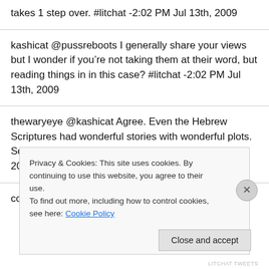takes 1 step over. #litchat -2:02 PM Jul 13th, 2009
kashicat @pussreboots I generally share your views but I wonder if you’re not taking them at their word, but reading things in in this case? #litchat -2:02 PM Jul 13th, 2009
thewaryeye @kashicat Agree. Even the Hebrew Scriptures had wonderful stories with wonderful plots. Solomon and poor Job. #litchat -2:02 PM Jul 13th, 2009
courbmn @bibliofreshblog So like toeing the line? 🙂
Privacy & Cookies: This site uses cookies. By continuing to use this website, you agree to their use.
To find out more, including how to control cookies, see here: Cookie Policy
Close and accept
LITCHAT TWEETS